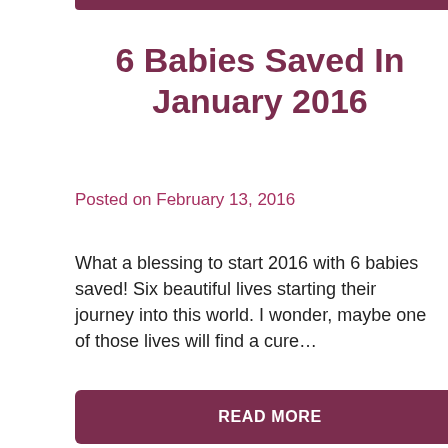6 Babies Saved In January 2016
Posted on February 13, 2016
What a blessing to start 2016 with 6 babies saved! Six beautiful lives starting their journey into this world. I wonder, maybe one of those lives will find a cure…
READ MORE